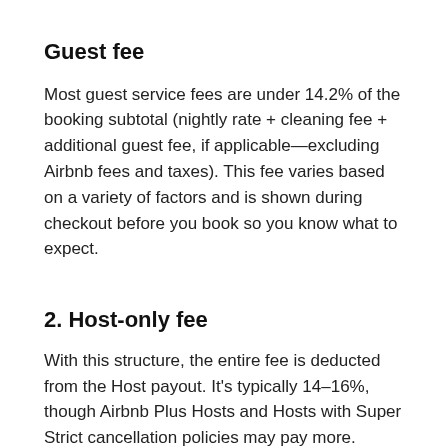Guest fee
Most guest service fees are under 14.2% of the booking subtotal (nightly rate + cleaning fee + additional guest fee, if applicable—excluding Airbnb fees and taxes). This fee varies based on a variety of factors and is shown during checkout before you book so you know what to expect.
2. Host-only fee
With this structure, the entire fee is deducted from the Host payout. It’s typically 14–16%, though Airbnb Plus Hosts and Hosts with Super Strict cancellation policies may pay more.